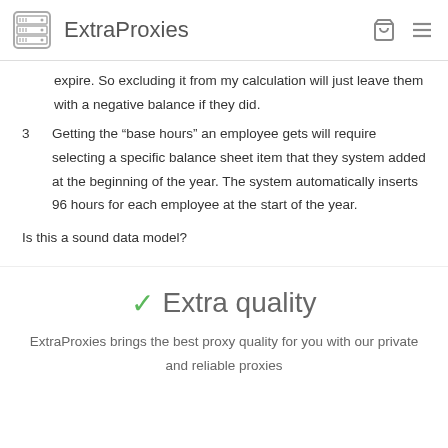ExtraProxies
expire. So excluding it from my calculation will just leave them with a negative balance if they did.
3   Getting the “base hours” an employee gets will require selecting a specific balance sheet item that they system added at the beginning of the year. The system automatically inserts 96 hours for each employee at the start of the year.
Is this a sound data model?
✓ Extra quality
ExtraProxies brings the best proxy quality for you with our private and reliable proxies